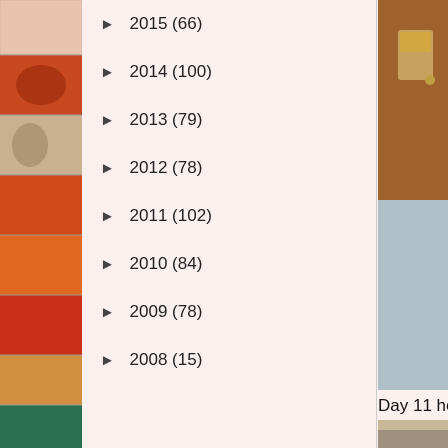[Figure (photo): Vertical strip of colorful patterned fabric/quilt squares along left edge]
► 2015 (66)
► 2014 (100)
► 2013 (79)
► 2012 (78)
► 2011 (102)
► 2010 (84)
► 2009 (78)
► 2008 (15)
[Figure (photo): Photo of wooden furniture/door detail, cropped on right side]
Day 11 hexies &
[Figure (photo): Photo of a cat (Bella) on a grey couch, partially visible, cropped on right]
Day 12 of hexies. Bella has